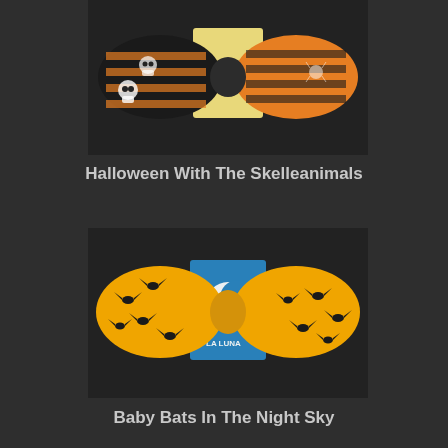[Figure (photo): A Halloween-themed bow tie made with orange and black striped fabric and white skull-patterned fabric, displayed on a Lotería card background.]
Halloween With The Skelleanimals
[Figure (photo): A yellow bow tie decorated with black bat silhouettes, displayed on a blue 'La Luna' Lotería card.]
Baby Bats In The Night Sky